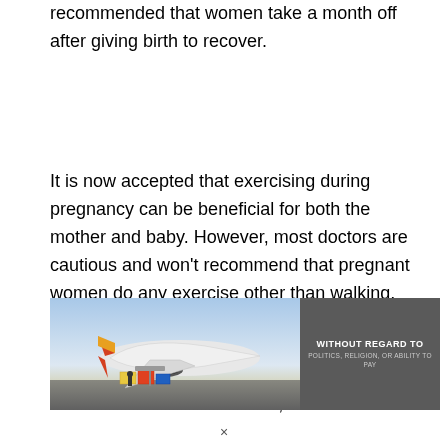recommended that women take a month off after giving birth to recover.
It is now accepted that exercising during pregnancy can be beneficial for both the mother and baby. However, most doctors are cautious and won't recommend that pregnant women do any exercise other than walking, swine, or yoga.
Many women exercise vigorously during pregnancy, such as running or aerobics. Doctors have concluded that,
[Figure (photo): Advertisement banner showing an airplane being loaded with cargo, with text overlay reading 'WITHOUT REGARD TO POLITICS, RELIGION, OR ABILITY TO PAY']
×